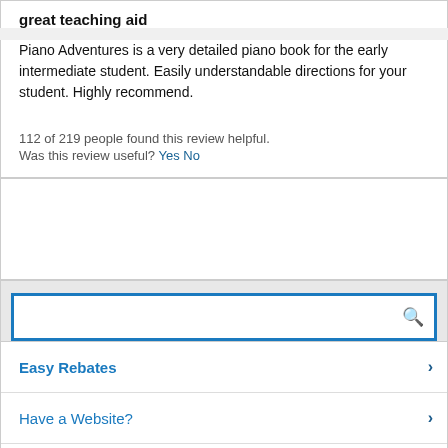great teaching aid
Piano Adventures is a very detailed piano book for the early intermediate student. Easily understandable directions for your student. Highly recommend.
112 of 219 people found this review helpful.
Was this review useful? Yes No
[Figure (other): Advertisement placeholder box]
[Figure (other): Search bar with magnifying glass icon and blue border]
Easy Rebates
Have a Website?
FREE Newsletter
Bargain Basket
QUICK LINKS